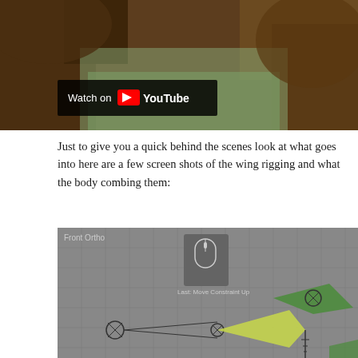[Figure (screenshot): YouTube video thumbnail showing tree branches (a dragon or creature animation), with a 'Watch on YouTube' overlay button in the bottom-left corner of the video.]
Just to give you a quick behind the scenes look at what goes into here are a few screen shots of the wing rigging and what the body combing them:
[Figure (screenshot): Blender 3D software screenshot showing Front Ortho view with wing rigging setup. The interface shows bone/constraint structures in green and yellow-green, with circular bone controls visible. A tooltip reads 'Last: Move Constraint Up'. The background is medium grey with a grid.]